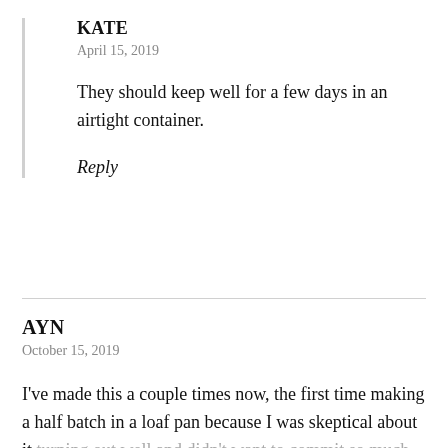KATE
April 15, 2019
They should keep well for a few days in an airtight container.
Reply
AYN
October 15, 2019
I've made this a couple times now, the first time making a half batch in a loaf pan because I was skeptical about it turning out well and didn't want to commit so much ingredients to an experiment, but it turned out great, just